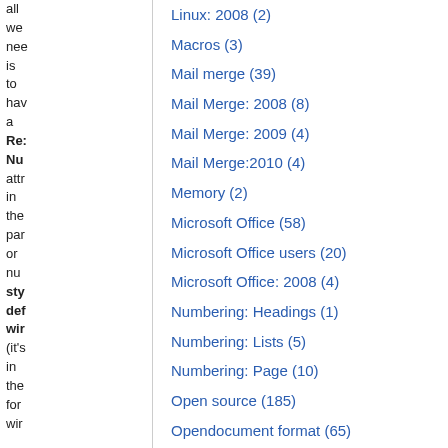all we need is to have a Re: Nu attr in the par or nu sty def wir (it's in the for win
Linux: 2008 (2)
Macros (3)
Mail merge (39)
Mail Merge: 2008 (8)
Mail Merge: 2009 (4)
Mail Merge:2010 (4)
Memory (2)
Microsoft Office (58)
Microsoft Office users (20)
Microsoft Office: 2008 (4)
Numbering: Headings (1)
Numbering: Lists (5)
Numbering: Page (10)
Open source (185)
Opendocument format (65)